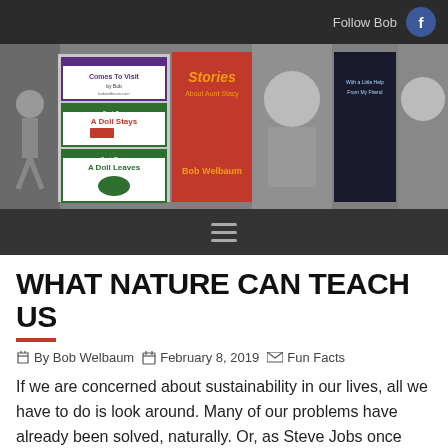Follow Bob
[Figure (photo): Banner image showing books by Bob Welbaum and photos of the author including book covers: A Doll Comes To Visit, A Doll Stays, A Doll Leaves, Stories About Aunt Stacy, a dark book with a friend, and cartoon illustration, along with black-and-white photos of people]
WHAT NATURE CAN TEACH US
By Bob Welbaum   February 8, 2019   Fun Facts
If we are concerned about sustainability in our lives, all we have to do is look around. Many of our problems have already been solved, naturally. Or, as Steve Jobs once said, “I think the biggest innovations of the 21st century will be at the intersection of